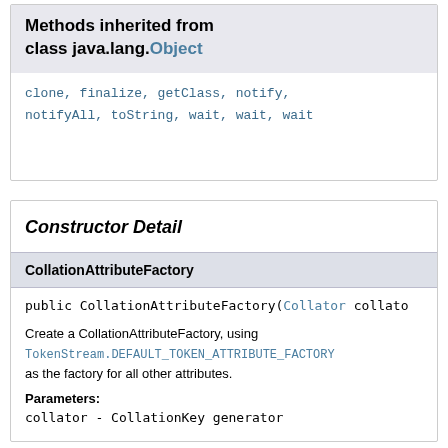Methods inherited from class java.lang.Object
clone, finalize, getClass, notify, notifyAll, toString, wait, wait, wait
Constructor Detail
CollationAttributeFactory
public CollationAttributeFactory(Collator collato
Create a CollationAttributeFactory, using TokenStream.DEFAULT_TOKEN_ATTRIBUTE_FACTORY as the factory for all other attributes.
Parameters:
collator - CollationKey generator